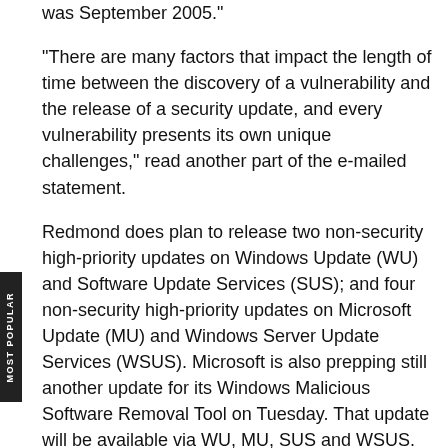was September 2005."
"There are many factors that impact the length of time between the discovery of a vulnerability and the release of a security update, and every vulnerability presents its own unique challenges," read another part of the e-mailed statement.
Redmond does plan to release two non-security high-priority updates on Windows Update (WU) and Software Update Services (SUS); and four non-security high-priority updates on Microsoft Update (MU) and Windows Server Update Services (WSUS). Microsoft is also prepping still another update for its Windows Malicious Software Removal Tool on Tuesday. That update will be available via WU, MU, SUS and WSUS.
About the Author
Stephen Swoyer is a contributing editor for Enterprise